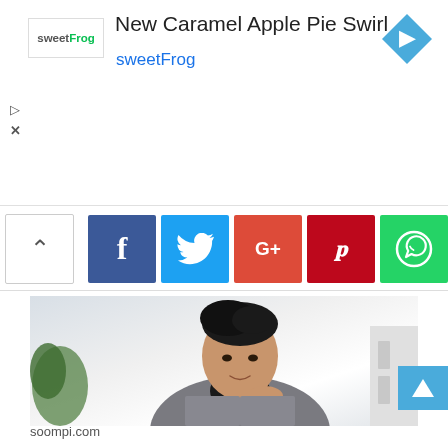[Figure (screenshot): sweetFrog advertisement banner with logo, title 'New Caramel Apple Pie Swirl', sweetFrog subtitle in blue, and blue diamond navigation arrow]
[Figure (infographic): Social media share toolbar with up chevron button, Facebook (blue), Twitter (cyan), Google+ (red), Pinterest (red), WhatsApp (green) buttons]
[Figure (photo): Photo of a Korean man with black hair, wearing a black turtleneck and grey tweed blazer, resting his chin on his hand, smiling slightly against a white background. Green plant visible on left side.]
soompi.com